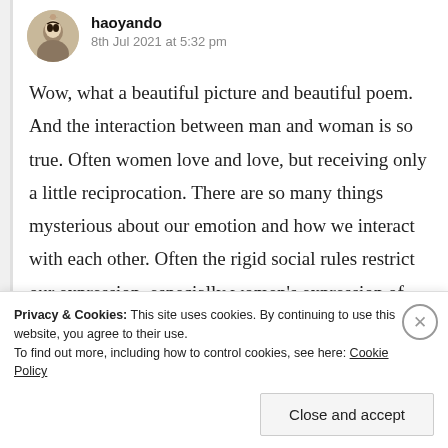haoyando
8th Jul 2021 at 5:32 pm
Wow, what a beautiful picture and beautiful poem. And the interaction between man and woman is so true. Often women love and love, but receiving only a little reciprocation. There are so many things mysterious about our emotion and how we interact with each other. Often the rigid social rules restrict our expression, especially women’s expression of natural feelings.
Privacy & Cookies: This site uses cookies. By continuing to use this website, you agree to their use.
To find out more, including how to control cookies, see here: Cookie Policy
Close and accept